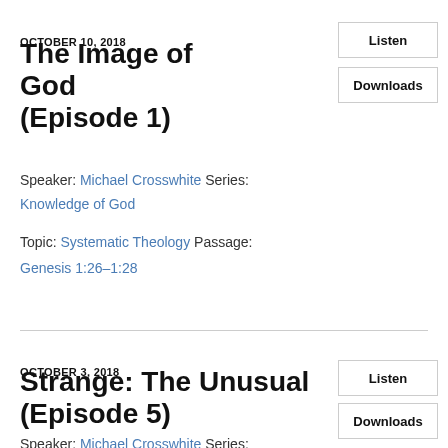OCTOBER 10, 2018
The Image of God (Episode 1)
Speaker: Michael Crosswhite Series:
Knowledge of God
Topic: Systematic Theology Passage:
Genesis 1:26–1:28
OCTOBER 3, 2018
Strange: The Unusual (Episode 5)
Speaker: Michael Crosswhite Series: